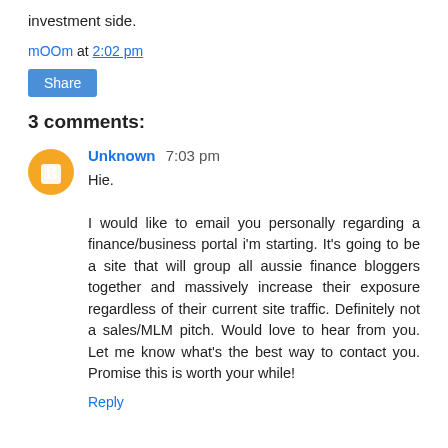investment side.
mOOm at 2:02 pm
Share
3 comments:
Unknown 7:03 pm
Hie.

I would like to email you personally regarding a finance/business portal i'm starting. It's going to be a site that will group all aussie finance bloggers together and massively increase their exposure regardless of their current site traffic. Definitely not a sales/MLM pitch. Would love to hear from you. Let me know what's the best way to contact you. Promise this is worth your while!
Reply